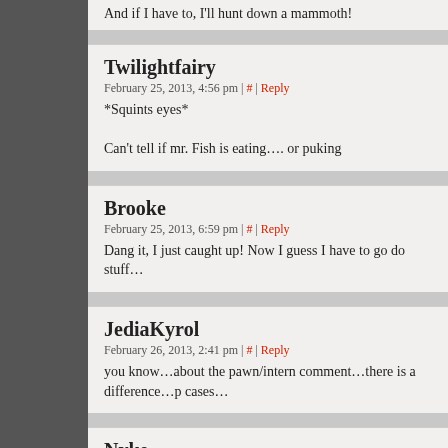And if I have to, I'll hunt down a mammoth!
Twilightfairy
February 25, 2013, 4:56 pm | # | Reply
*Squints eyes*

Can't tell if mr. Fish is eating…. or puking
Brooke
February 25, 2013, 6:59 pm | # | Reply
Dang it, I just caught up! Now I guess I have to go do stuff…
JediaKyrol
February 26, 2013, 2:41 pm | # | Reply
you know…about the pawn/intern comment…there is a difference…p cases…
Nyke
March 9, 2013, 5:34 am | # | Reply
Hmm… March 9th and the last comic was on the 14th. This is starting…